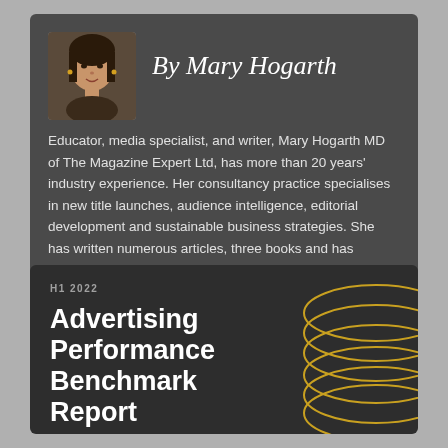[Figure (photo): Headshot photo of Mary Hogarth]
By Mary Hogarth
Educator, media specialist, and writer, Mary Hogarth MD of The Magazine Expert Ltd, has more than 20 years' industry experience. Her consultancy practice specialises in new title launches, audience intelligence, editorial development and sustainable business strategies. She has written numerous articles, three books and has recently embarked on a PhD.
[Figure (illustration): Cover image of Advertising Performance Benchmark Report H1 2022 with decorative ellipse shapes in gold/yellow on dark background]
H1 2022
Advertising Performance Benchmark Report
Tuning in to the signals advertisers value most